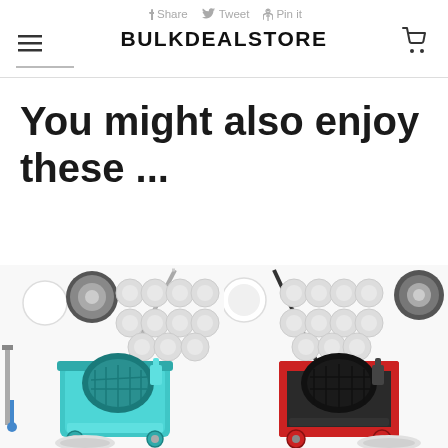f Share  Tweet  Pin it  BULKDEALSTORE
You might also enjoy these ...
[Figure (photo): Two spin mop cleaning product sets with buckets and mop heads — left set is teal/turquoise colored bucket, right set is black/red colored bucket, each with multiple replacement mop heads displayed above]